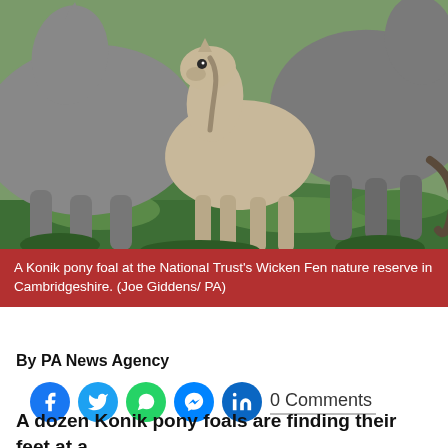[Figure (photo): A Konik pony foal standing between adult Konik ponies on green grass at a nature reserve]
A Konik pony foal at the National Trust's Wicken Fen nature reserve in Cambridgeshire. (Joe Giddens/ PA)
By PA News Agency
[Figure (infographic): Social media share icons: Facebook, Twitter, WhatsApp, Messenger, LinkedIn. 0 Comments]
A dozen Konik pony foals are finding their feet at a